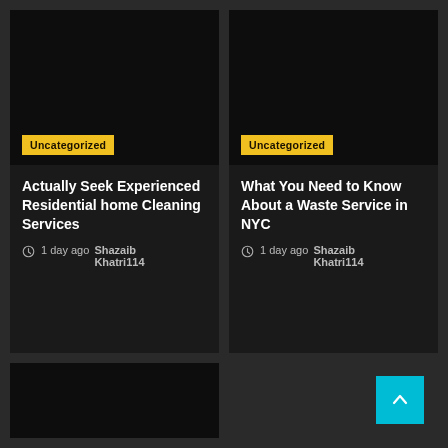[Figure (photo): Dark/black image card top-left with Uncategorized badge]
Actually Seek Experienced Residential home Cleaning Services
1 day ago  Shazaib Khatri114
[Figure (photo): Dark/black image card top-right with Uncategorized badge]
What You Need to Know About a Waste Service in NYC
1 day ago  Shazaib Khatri114
[Figure (photo): Dark/black image card bottom-left, partial view]